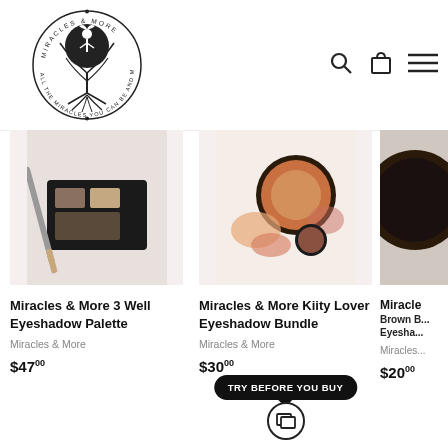[Figure (logo): Miracles & More circular logo with tree illustration and text 'ALL THE MIRACLES YOU CAN BE AND MORE']
[Figure (photo): Miracles & More 3 Well Eyeshadow Palette product photo - black palette with brush]
Miracles & More 3 Well Eyeshadow Palette
Miracles & More
$4700
[Figure (photo): Miracles & More Kiity Lover Eyeshadow Bundle product photo - orange/pink powder compact]
Miracles & More Kiity Lover Eyeshadow Bundle
Miracles & More
$3000
TRY BEFORE YOU BUY
[Figure (photo): Miracles & More Brown Eyeshadow product photo - partially visible]
Miracles & More
$2000